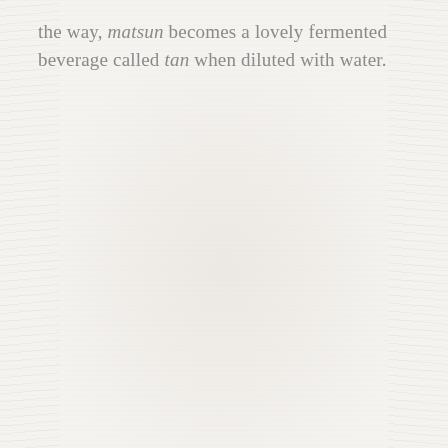the way, matsun becomes a lovely fermented beverage called tan when diluted with water.